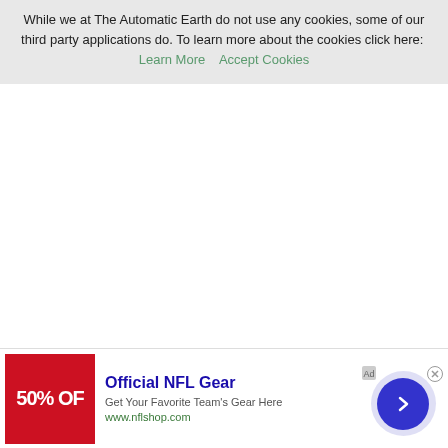While we at The Automatic Earth do not use any cookies, some of our third party applications do. To learn more about the cookies click here: Learn More   Accept Cookies
[Figure (other): Close (X) button circle for cookie banner]
[Figure (other): Advertisement banner: Official NFL Gear - Get Your Favorite Team's Gear Here - www.nflshop.com - with red image showing 50% OFF, a circular blue arrow button, and a close X button]